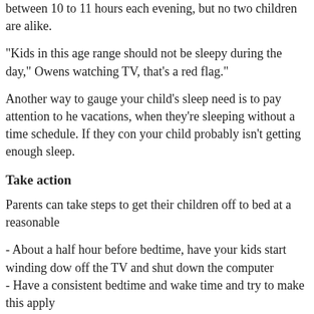between 10 to 11 hours each evening, but no two children are alike.
"Kids in this age range should not be sleepy during the day," Owens watching TV, that's a red flag."
Another way to gauge your child's sleep need is to pay attention to he vacations, when they're sleeping without a time schedule. If they con your child probably isn't getting enough sleep.
Take action
Parents can take steps to get their children off to bed at a reasonable
- About a half hour before bedtime, have your kids start winding dow off the TV and shut down the computer
- Have a consistent bedtime and wake time and try to make this apply
- Be good role models for your children. Go to bed at a reasonable ti of sleep
"Consider that (sleep) is one of the building blocks of your child's he Owens says. "It's equivalent to good nutrition, exercise and all the ot our children. You've got to put sleep right up there at the top of the li
Post by: Leslie Wade - CNN Medical Producer
Filed under: Children's Health • Living Well • Mental Health • Slee